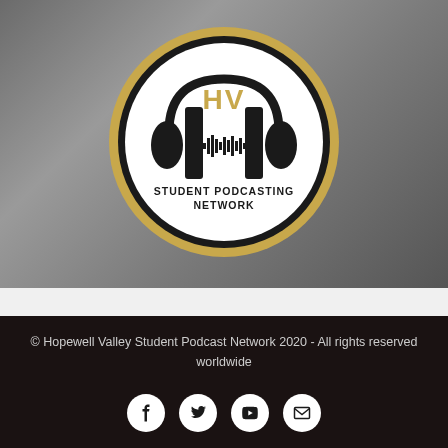[Figure (logo): HV Student Podcasting Network circular logo with headphones and sound wave graphic, gold and black color scheme]
© Hopewell Valley Student Podcast Network 2020 - All rights reserved worldwide
[Figure (infographic): Social media icons: Facebook, Twitter, YouTube, Email (white circles on dark background)]